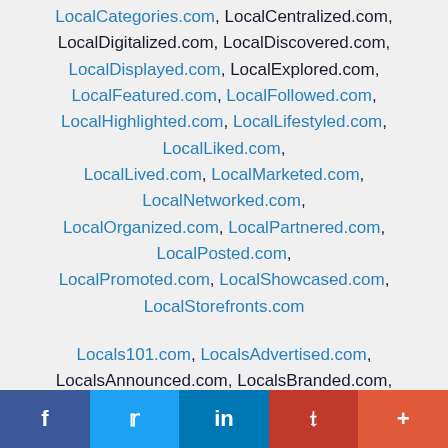LocalCategories.com, LocalCentralized.com, LocalDigitalized.com, LocalDiscovered.com, LocalDisplayed.com, LocalExplored.com, LocalFeatured.com, LocalFollowed.com, LocalHighlighted.com, LocalLifestyled.com, LocalLiked.com, LocalLived.com, LocalMarketed.com, LocalNetworked.com, LocalOrganized.com, LocalPartnered.com, LocalPosted.com, LocalPromoted.com, LocalShowcased.com, LocalStorefronts.com
Locals101.com, LocalsAdvertised.com, LocalsAnnounced.com, LocalsBranded.com, LocalsBrowsed.com, LocalsBundled.com, LocalsCategories.com, LocalsCentralized.com, LocalsDaily.com, LocalsDigitalized.com, LocalsDiscovered.com, LocalsDisplayed.com, LocalsExplored.com, LocalsFeatured.com, LocalsFollowed.com, LocalsHighlighted.com
f  t  in  P  +